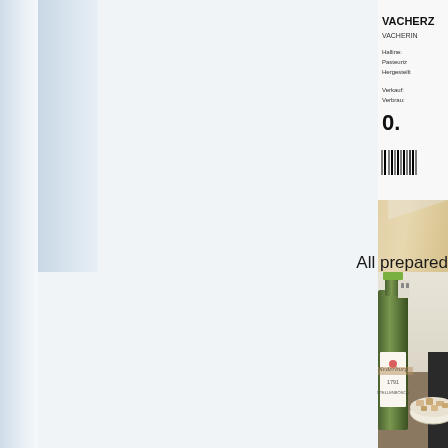[Figure (photo): A wedge of cheese wrapped in plastic wrap with a German label showing 'VACHERIN' text and a barcode, placed on a white surface. Only the right portion of the image is visible.]
All prepared
[Figure (photo): A bottle of Nederburg 1791 wine (white wine) next to a white bowl filled with chopped food items, sitting on a kitchen counter near a stove. Only the right portion of the image is visible.]